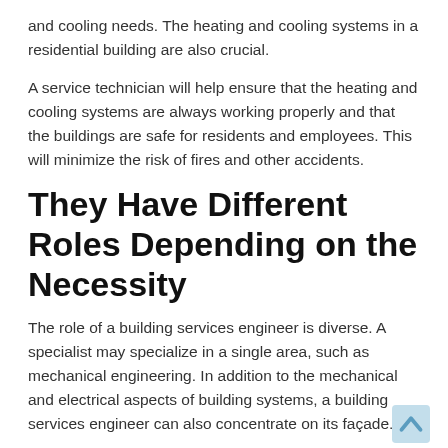and cooling needs. The heating and cooling systems in a residential building are also crucial.
A service technician will help ensure that the heating and cooling systems are always working properly and that the buildings are safe for residents and employees. This will minimize the risk of fires and other accidents.
They Have Different Roles Depending on the Necessity
The role of a building services engineer is diverse. A specialist may specialize in a single area, such as mechanical engineering. In addition to the mechanical and electrical aspects of building systems, a building services engineer can also concentrate on its façade.